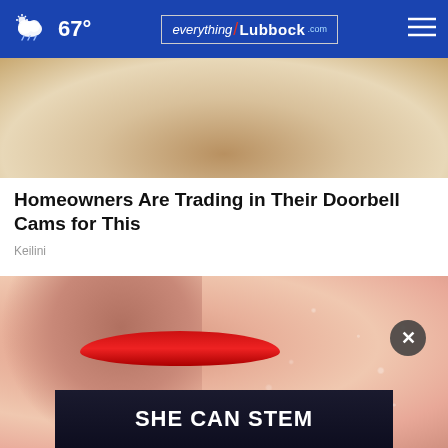67° everything/Lubbock.com
[Figure (photo): Close-up photo of skin texture, sandy/beige tones, top portion of article card image]
Homeowners Are Trading in Their Doorbell Cams for This
Keilini
[Figure (photo): Close-up photo of a face with dry, flaky skin and red lips; advertisement image with 'SHE CAN STEM' banner overlay and close (x) button]